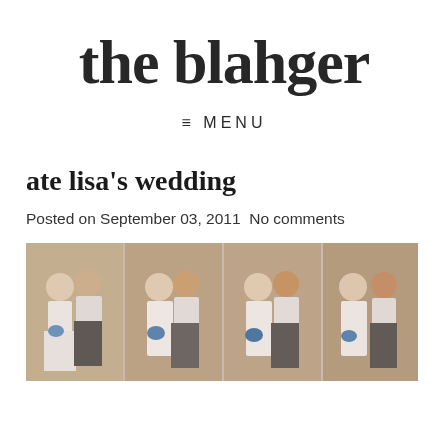the blahger
≡ MENU
ate lisa's wedding
Posted on September 03, 2011 No comments
[Figure (photo): Wedding photo collage showing a bride and groom in multiple poses, bride in white dress holding blue bouquet, indoor venue setting.]